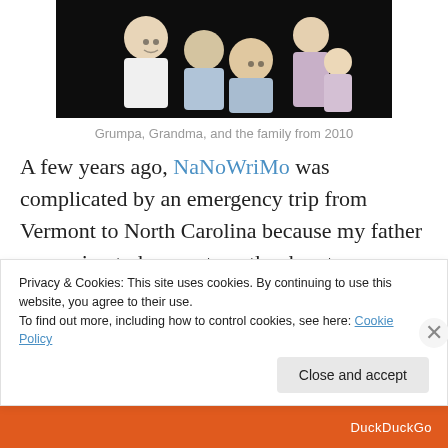[Figure (photo): Family portrait photo of Grumpa, Grandma, and the family from 2010, group of adults and children posing together on dark background]
Grumpa, Grandma, and the family from 2010
A few years ago, NaNoWriMo was complicated by an emergency trip from Vermont to North Carolina because my father was going to have yet another heart surgery, and we were afraid he wasn't going to pull through. (He
Privacy & Cookies: This site uses cookies. By continuing to use this website, you agree to their use.
To find out more, including how to control cookies, see here: Cookie Policy
[Figure (screenshot): Bottom bar with DuckDuckGo branding in orange/red]